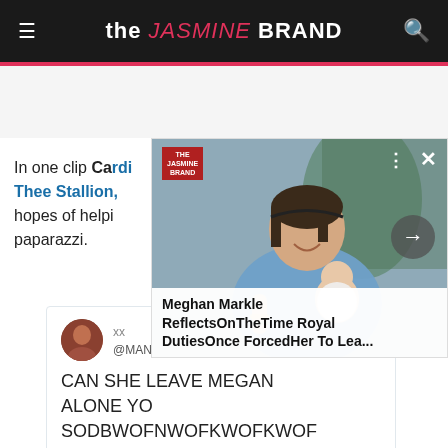the JASMINE BRAND
[Figure (photo): Photo of a woman (Meghan Markle) holding a baby, smiling, wearing blue clothing, with an advertisement overlay showing the article headline]
Meghan Markle ReflectsOnTheTime Royal DutiesOnce ForcedHer To Lea...
In one clip Cardi B confronts Megan Thee Stallion, approaching her in hopes of helping her get away from the paparazzi.
xx
@MANISMONET · Follow

CAN SHE LEAVE MEGAN ALONE YO SODBWOFNWOFKWOFKWOF KKEFMELMFKEKDKEND